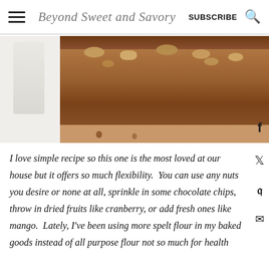Beyond Sweet and Savory — SUBSCRIBE
[Figure (photo): Close-up photo of a sliced banana nut bread loaf topped with walnuts on a white surface, with a glass of milk visible on the left side. A Facebook share icon is overlaid in the bottom right corner.]
I love simple recipe so this one is the most loved at our house but it offers so much flexibility.  You can use any nuts you desire or none at all, sprinkle in some chocolate chips, throw in dried fruits like cranberry, or add fresh ones like mango.  Lately, I've been using more spelt flour in my baked goods instead of all purpose flour not so much for health